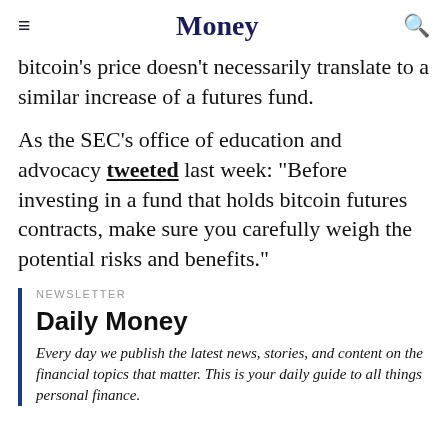Money
bitcoin's price doesn't necessarily translate to a similar increase of a futures fund.
As the SEC's office of education and advocacy tweeted last week: "Before investing in a fund that holds bitcoin futures contracts, make sure you carefully weigh the potential risks and benefits."
NEWSLETTER
Daily Money
Every day we publish the latest news, stories, and content on the financial topics that matter. This is your daily guide to all things personal finance.